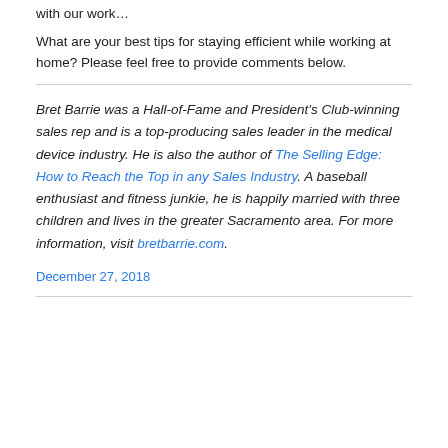with our work…
What are your best tips for staying efficient while working at home? Please feel free to provide comments below.
Bret Barrie was a Hall-of-Fame and President's Club-winning sales rep and is a top-producing sales leader in the medical device industry. He is also the author of The Selling Edge: How to Reach the Top in any Sales Industry. A baseball enthusiast and fitness junkie, he is happily married with three children and lives in the greater Sacramento area. For more information, visit bretbarrie.com.
December 27, 2018